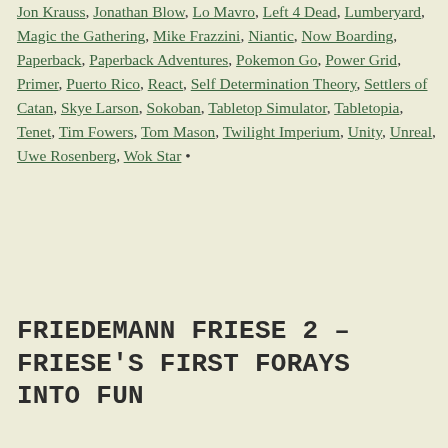Jon Krauss, Jonathan Blow, Lo Mavro, Left 4 Dead, Lumberyard, Magic the Gathering, Mike Frazzini, Niantic, Now Boarding, Paperback, Paperback Adventures, Pokemon Go, Power Grid, Primer, Puerto Rico, React, Self Determination Theory, Settlers of Catan, Skye Larson, Sokoban, Tabletop Simulator, Tabletopia, Tenet, Tim Fowers, Tom Mason, Twilight Imperium, Unity, Unreal, Uwe Rosenberg, Wok Star •
FRIEDEMANN FRIESE 2 – FRIESE'S FIRST FORAYS INTO FUN